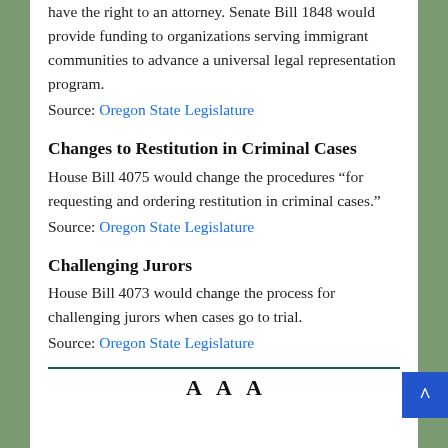have the right to an attorney. Senate Bill 1848 would provide funding to organizations serving immigrant communities to advance a universal legal representation program.
Source: Oregon State Legislature
Changes to Restitution in Criminal Cases
House Bill 4075 would change the procedures “for requesting and ordering restitution in criminal cases.”
Source: Oregon State Legislature
Challenging Jurors
House Bill 4073 would change the process for challenging jurors when cases go to trial.
Source: Oregon State Legislature